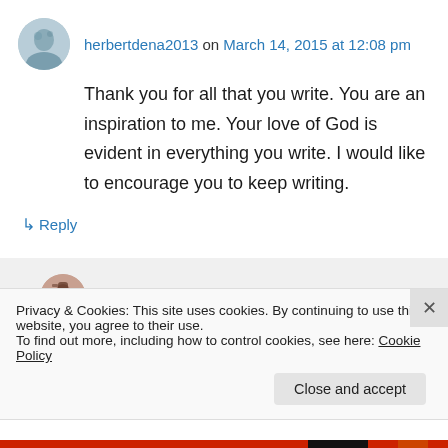herbertdena2013 on March 14, 2015 at 12:08 pm
Thank you for all that you write. You are an inspiration to me. Your love of God is evident in everything you write. I would like to encourage you to keep writing.
↳ Reply
Karina Susanto on March 15, 2015 at 6:26 am
Privacy & Cookies: This site uses cookies. By continuing to use this website, you agree to their use.
To find out more, including how to control cookies, see here: Cookie Policy
Close and accept